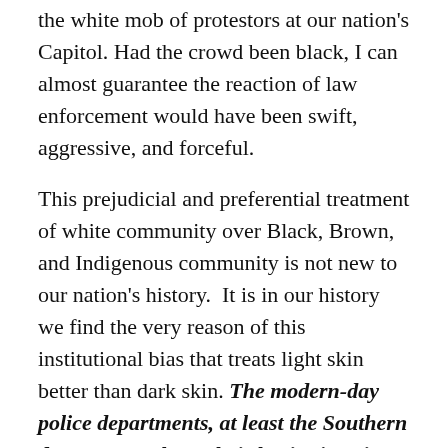the white mob of protestors at our nation's Capitol. Had the crowd been black, I can almost guarantee the reaction of law enforcement would have been swift, aggressive, and forceful.
This prejudicial and preferential treatment of white community over Black, Brown, and Indigenous community is not new to our nation's history.  It is in our history we find the very reason of this institutional bias that treats light skin better than dark skin. The modern-day police departments, at least the Southern departments, have their beginnings in the slave patrols of the Civil War and during reconstruction (Potter, 2013). It would be easy to dismiss with an “in the past” argument and “not relevant to today”, but the field of epigenetics would